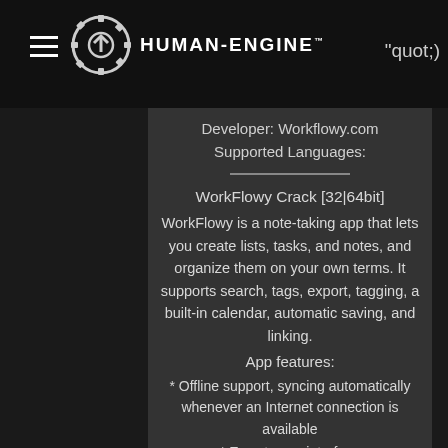HUMAN-ENGINE™    quot;)
Developer: Workflowy.com
Supported Languages:
WorkFlowy Crack [32|64bit]
WorkFlowy is a note-taking app that lets you create lists, tasks, and notes, and organize them on your own terms. It supports search, tags, export, tagging, a built-in calendar, automatic saving, and linking.
App features:
* Offline support, syncing automatically whenever an Internet connection is available
* Easy to use interface
* Integrated cloud service to store all the data
* Automatically create new tasks for new events as they appear